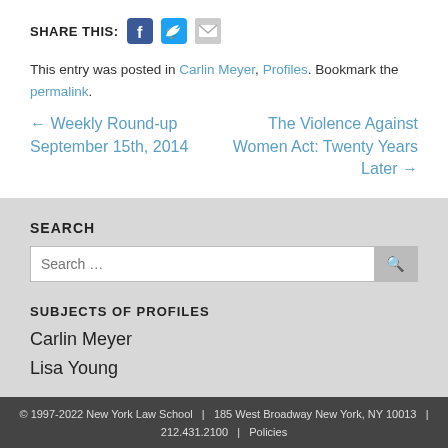SHARE THIS: [Facebook] [Twitter] [Email]
This entry was posted in Carlin Meyer, Profiles. Bookmark the permalink.
← Weekly Round-up September 15th, 2014
The Violence Against Women Act: Twenty Years Later →
SEARCH
SUBJECTS OF PROFILES
Carlin Meyer
Lisa Young
© 1997-2022 New York Law School   |   185 West Broadway New York, NY 10013   |   212.431.2100   |   Policies